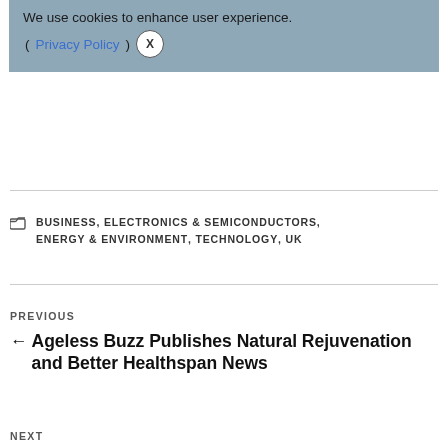We use cookies to enhance user experience. (Privacy Policy) X
BUSINESS, ELECTRONICS & SEMICONDUCTORS, ENERGY & ENVIRONMENT, TECHNOLOGY, UK
PREVIOUS
← Ageless Buzz Publishes Natural Rejuvenation and Better Healthspan News
NEXT